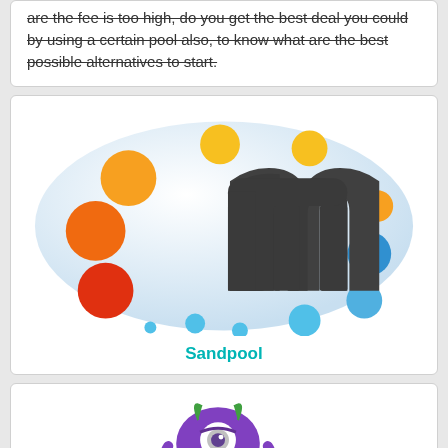are the fee is too high, do you get the best deal you could by using a certain pool also, to know what are the best possible alternatives to start.
[Figure (logo): Sandpool logo — a light blue oval with colorful dots (orange, red, yellow, blue) surrounding a dark grey stylized letter 'm']
Sandpool
[Figure (logo): BCMonster Bitcoin Mining Pool logo — a purple one-eyed monster character above the text 'BCMonster' in large serif letters with 'Bitcoin Mining Pool' below]